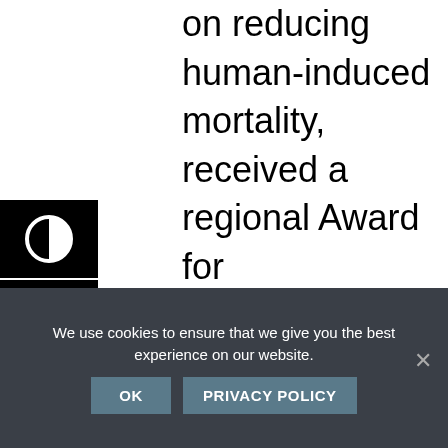outreach campaign, focused on reducing human-induced mortality, received a regional Award for Conservation Partners through the U.S. Fish and Wildlife Service Southeast Region.

The campaign was piloted in Alabama through the work of International Crane
We use cookies to ensure that we give you the best experience on our website.
OK   PRIVACY POLICY